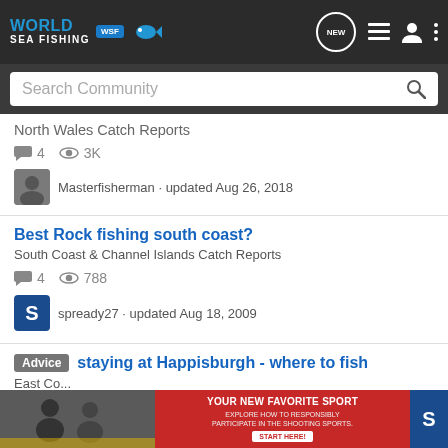World Sea Fishing (WSF) - header navigation bar with logo, NEW bubble, list icon, user icon, more icon
Search Community
North Wales Catch Reports
4 comments · 3K views
Masterfisherman · updated Aug 26, 2018
Best Rock fishing south coast?
South Coast & Channel Islands Catch Reports
4 comments · 788 views
spready27 · updated Aug 18, 2009
Advice staying at Happisburgh - where to fish
East Co...
[Figure (screenshot): Advertisement banner: YOUR NEW FAVORITE SPORT - EXPLORE HOW TO RESPONSIBLY PARTICIPATE IN THE SHOOTING SPORTS. START HERE!]